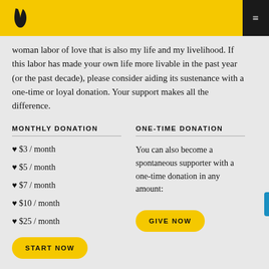Brain Pickings header with logo and menu
woman labor of love that is also my life and my livelihood. If this labor has made your own life more livable in the past year (or the past decade), please consider aiding its sustenance with a one-time or loyal donation. Your support makes all the difference.
MONTHLY DONATION
♥ $3 / month
♥ $5 / month
♥ $7 / month
♥ $10 / month
♥ $25 / month
ONE-TIME DONATION
You can also become a spontaneous supporter with a one-time donation in any amount:
BITCOIN DONATION